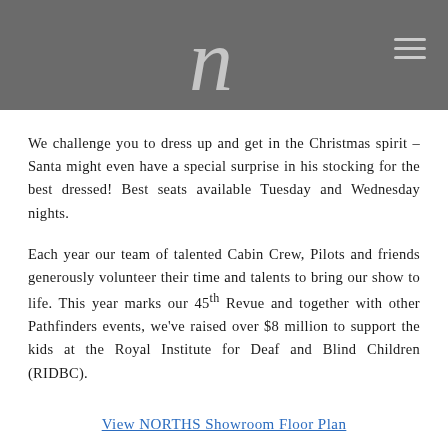n [logo] [hamburger menu]
We challenge you to dress up and get in the Christmas spirit – Santa might even have a special surprise in his stocking for the best dressed! Best seats available Tuesday and Wednesday nights.
Each year our team of talented Cabin Crew, Pilots and friends generously volunteer their time and talents to bring our show to life. This year marks our 45th Revue and together with other Pathfinders events, we've raised over $8 million to support the kids at the Royal Institute for Deaf and Blind Children (RIDBC).
View NORTHS Showroom Floor Plan